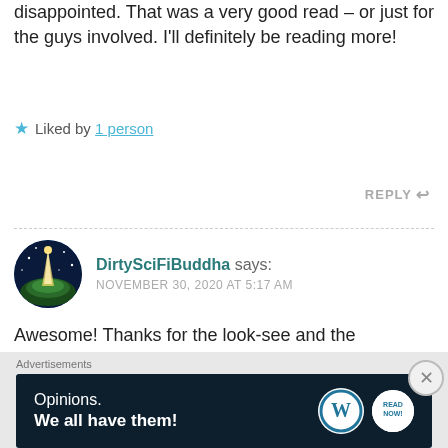disappointed. That was a very good read – or just for the guys involved. I'll definitely be reading more!
Liked by 1 person
REPLY
DirtySciFiBuddha says: NOVEMBER 30, 2020 AT 5:17 AM
Awesome! Thanks for the look-see and the compliment!
Like
Advertisements
[Figure (other): WordPress advertisement banner: Opinions. We all have them! with WordPress logo and QR code button]